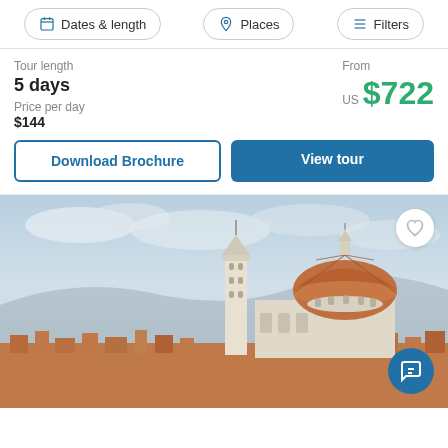Dates & length | Places | Filters
Tour length
5 days
Price per day
$144
From
US $722
Download Brochure
View tour
[Figure (photo): Cityscape photo of Florence, Italy showing the Cathedral of Santa Maria del Fiore (Duomo) with its iconic red terracotta dome and the adjacent Giotto's Campanile bell tower against a partly cloudy sky, with the city rooftops in the foreground.]